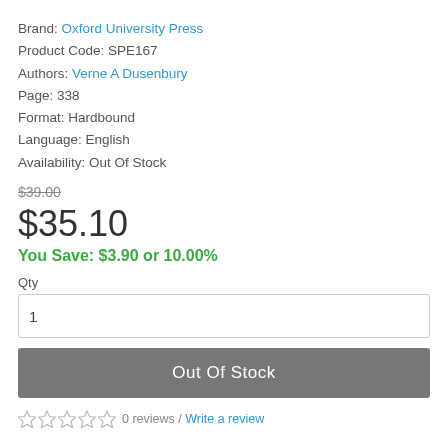Brand: Oxford University Press
Product Code: SPE167
Authors: Verne A Dusenbury
Page: 338
Format: Hardbound
Language: English
Availability: Out Of Stock
$39.00 (strikethrough)
$35.10
You Save: $3.90 or 10.00%
Qty
1
Out Of Stock
0 reviews / Write a review